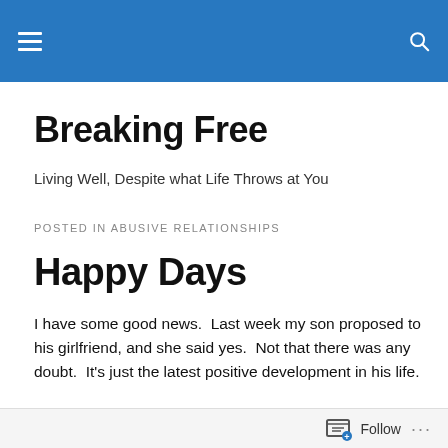Breaking Free — navigation bar with hamburger menu and search icon
Breaking Free
Living Well, Despite what Life Throws at You
POSTED IN ABUSIVE RELATIONSHIPS
Happy Days
I have some good news.  Last week my son proposed to his girlfriend, and she said yes.  Not that there was any doubt.  It's just the latest positive development in his life.
The reason I ever launched this blog was because, five
Follow ...